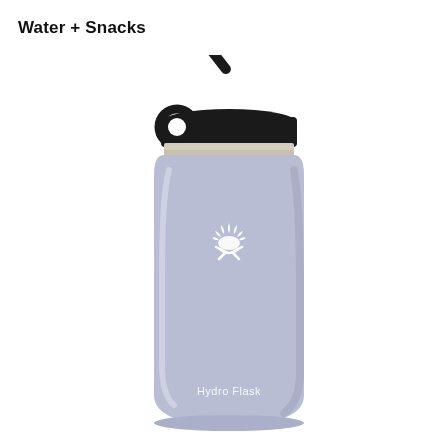Water + Snacks
[Figure (photo): A light lavender/fog colored Hydro Flask wide-mouth water bottle with a black straw lid cap. The bottle features the Hydro Flask sun logo in white on the body and 'Hydro Flask' text near the bottom. The black lid has a carry loop and a flexible straw with a bite valve angled to the side.]